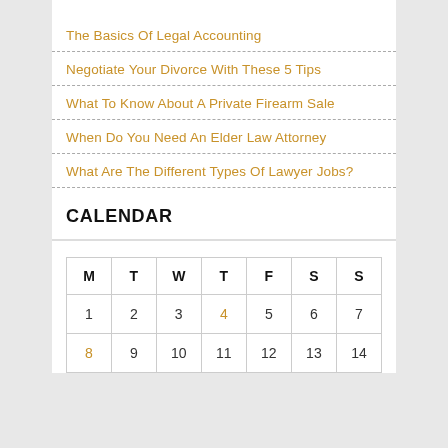The Basics Of Legal Accounting
Negotiate Your Divorce With These 5 Tips
What To Know About A Private Firearm Sale
When Do You Need An Elder Law Attorney
What Are The Different Types Of Lawyer Jobs?
CALENDAR
| M | T | W | T | F | S | S |
| --- | --- | --- | --- | --- | --- | --- |
| 1 | 2 | 3 | 4 | 5 | 6 | 7 |
| 8 | 9 | 10 | 11 | 12 | 13 | 14 |